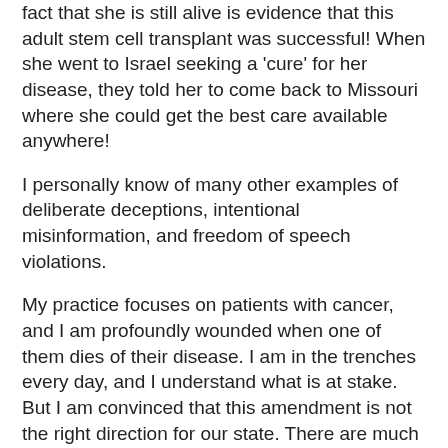fact that she is still alive is evidence that this adult stem cell transplant was successful! When she went to Israel seeking a 'cure' for her disease, they told her to come back to Missouri where she could get the best care available anywhere!
I personally know of many other examples of deliberate deceptions, intentional misinformation, and freedom of speech violations.
My practice focuses on patients with cancer, and I am profoundly wounded when one of them dies of their disease. I am in the trenches every day, and I understand what is at stake. But I am convinced that this amendment is not the right direction for our state. There are much more effective ways we can spend our money and time without endangering women.
We all have to make our own decisions, and democracy only works well if we make those decisions based on facts. Whatever opinion you develop on this issue, I hope that it is based on facts. Please feel free to email me if you have